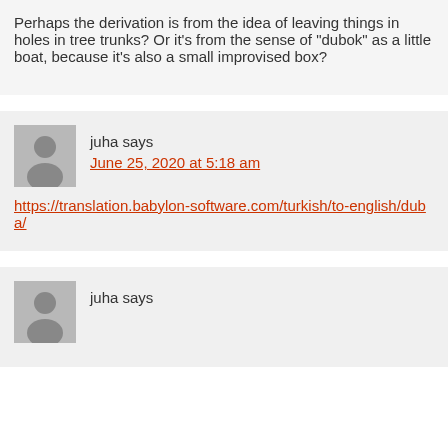Perhaps the derivation is from the idea of leaving things in holes in tree trunks? Or it's from the sense of "dubok" as a little boat, because it's also a small improvised box?
juha says
June 25, 2020 at 5:18 am
https://translation.babylon-software.com/turkish/to-english/duba/
juha says